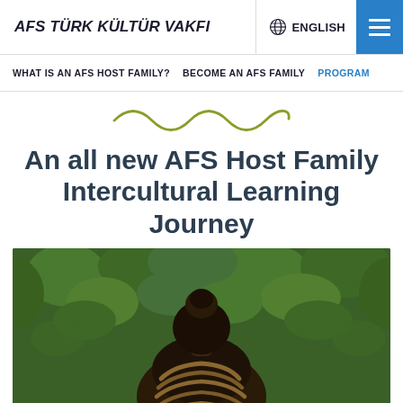AFS TÜRK KÜLTÜR VAKFI | ENGLISH
WHAT IS AN AFS HOST FAMILY? BECOME AN AFS FAMILY PROGRAM
[Figure (illustration): Decorative wavy line in olive/yellow-green color]
An all new AFS Host Family Intercultural Learning Journey
[Figure (photo): Person seen from behind with hair in a bun, wearing braided rope or similar material, in front of green foliage background]